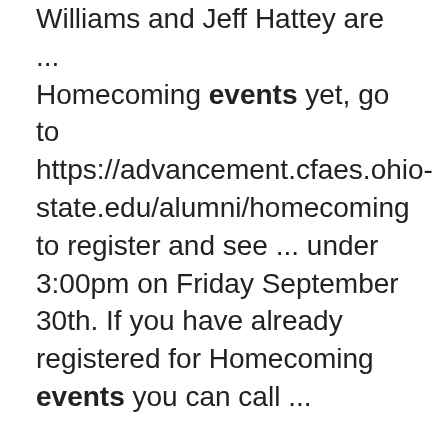Williams and Jeff Hattey are ... Homecoming events yet, go to https://advancement.cfaes.ohio-state.edu/alumni/homecoming to register and see ... under 3:00pm on Friday September 30th. If you have already registered for Homecoming events you can call ...
Sustainable Infrastructure for Developing Rural Communities
https://fabe.osu.edu/courses/fabeng-526001 basic water, sanitation, and hygiene (WaSH) infrastructure needs demands